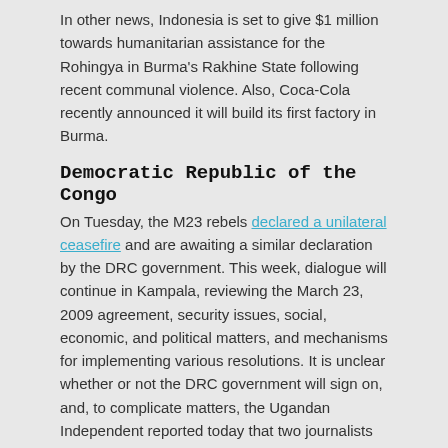In other news, Indonesia is set to give $1 million towards humanitarian assistance for the Rohingya in Burma's Rakhine State following recent communal violence. Also, Coca-Cola recently announced it will build its first factory in Burma.
Democratic Republic of the Congo
On Tuesday, the M23 rebels declared a unilateral ceasefire and are awaiting a similar declaration by the DRC government. This week, dialogue will continue in Kampala, reviewing the March 23, 2009 agreement, security issues, social, economic, and political matters, and mechanisms for implementing various resolutions. It is unclear whether or not the DRC government will sign on, and, to complicate matters, the Ugandan Independent reported today that two journalists were recently detained and beaten by security forces. The immediate reasons have not been uncovered, although the radio station targeted has in the past issued reports critical of the Congolese